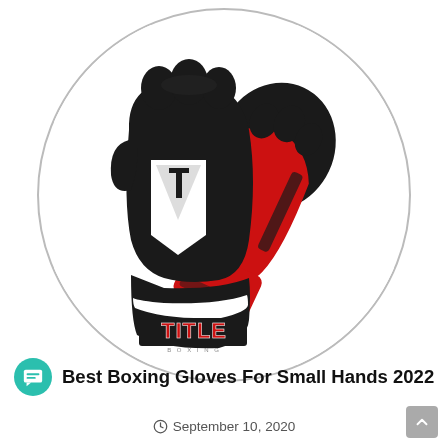[Figure (photo): Two TITLE brand boxing gloves (black with red accents and white TITLE logo) displayed inside a circular frame on white background.]
Best Boxing Gloves For Small Hands 2022
September 10, 2020